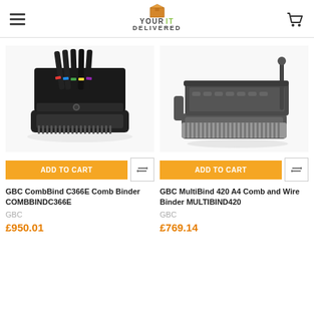YOUR IT DELIVERED
[Figure (photo): GBC CombBind C366E Comb Binder - black electric comb binding machine shown open with colorful comb strips]
[Figure (photo): GBC MultiBind 420 A4 Comb and Wire Binder - gray manual binding machine with comb punching mechanism]
ADD TO CART
ADD TO CART
GBC CombBind C366E Comb Binder COMBBINDC366E
GBC MultiBind 420 A4 Comb and Wire Binder MULTIBIND420
GBC
GBC
£950.01
£769.14